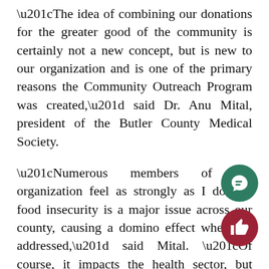“The idea of combining our donations for the greater good of the community is certainly not a new concept, but is new to our organization and is one of the primary reasons the Community Outreach Program was created,” said Dr. Anu Mital, president of the Butler County Medical Society.
“Numerous members of our organization feel as strongly as I do that food insecurity is a major issue across our county, causing a domino effect when not addressed,” said Mital. “Of course, it impacts the health sector, but hunger also causes issues with learning. How can you concentrate on learning if you are worried about being hungry?”
The $5,000 donation was funded from multiple sources including Dermatology & Skin Care